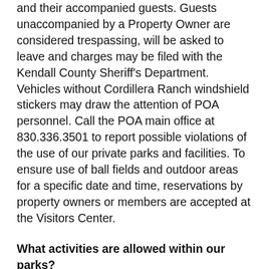and their accompanied guests. Guests unaccompanied by a Property Owner are considered trespassing, will be asked to leave and charges may be filed with the Kendall County Sheriff's Department. Vehicles without Cordillera Ranch windshield stickers may draw the attention of POA personnel. Call the POA main office at 830.336.3501 to report possible violations of the use of our private parks and facilities. To ensure use of ball fields and outdoor areas for a specific date and time, reservations by property owners or members are accepted at the Visitors Center.
What activities are allowed within our parks?